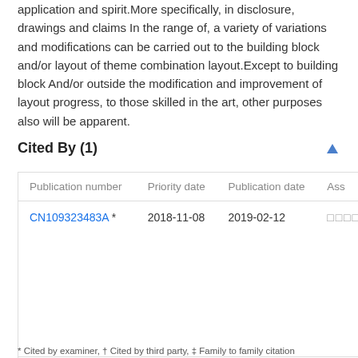application and spirit.More specifically, in disclosure, drawings and claims In the range of, a variety of variations and modifications can be carried out to the building block and/or layout of theme combination layout.Except to building block And/or outside the modification and improvement of layout progress, to those skilled in the art, other purposes also will be apparent.
Cited By (1)
| Publication number | Priority date | Publication date | Ass |
| --- | --- | --- | --- |
| CN109323483A * | 2018-11-08 | 2019-02-12 | □□□□ |
* Cited by examiner, † Cited by third party, ‡ Family to family citation